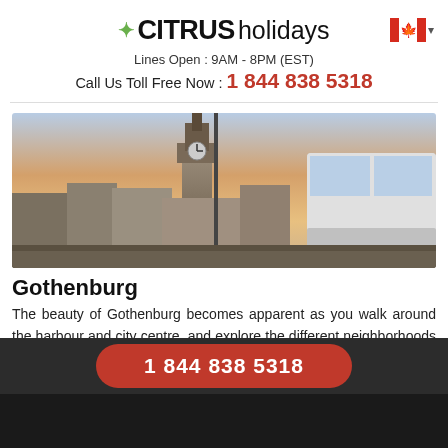CITRUS holidays — Lines Open : 9AM - 8PM (EST) — Call Us Toll Free Now : 1 844 838 5318
[Figure (photo): Cityscape of Gothenburg with a clock tower and a bus in the foreground under a sunset sky]
Gothenburg
The beauty of Gothenburg becomes apparent as you walk around the harbour and city centre, and explore the different neighborhoods that lend the area a pleasant and
Go to Guide
1 844 838 5318